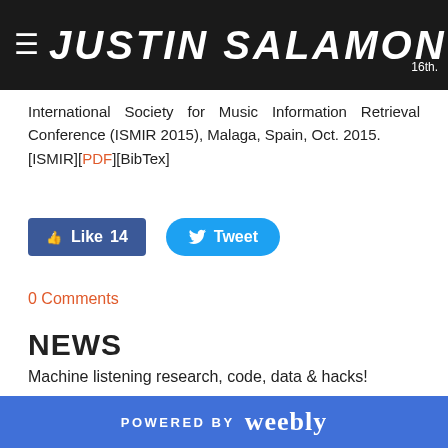JUSTIN SALAMON
International Society for Music Information Retrieval Conference (ISMIR 2015), Malaga, Spain, Oct. 2015. [ISMIR][PDF][BibTex]
[Figure (other): Facebook Like button showing 14 likes and Twitter Tweet button]
0 Comments
NEWS
Machine listening research, code, data & hacks!
Archives
POWERED BY weebly